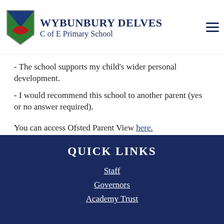Wybunbury Delves C of E Primary School
- The school supports my child's wider personal development.
- I would recommend this school to another parent (yes or no answer required).
You can access Ofsted Parent View here.
Quick Links
Staff
Governors
Academy Trust